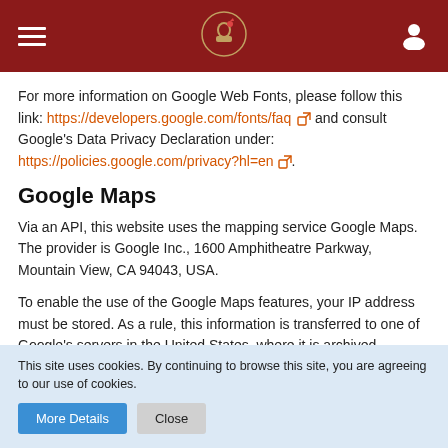Navigation header with hamburger menu, logo, and user icon
For more information on Google Web Fonts, please follow this link: https://developers.google.com/fonts/faq and consult Google's Data Privacy Declaration under: https://policies.google.com/privacy?hl=en.
Google Maps
Via an API, this website uses the mapping service Google Maps. The provider is Google Inc., 1600 Amphitheatre Parkway, Mountain View, CA 94043, USA.
To enable the use of the Google Maps features, your IP address must be stored. As a rule, this information is transferred to one of Google's servers in the United States, where it is archived. The use of this website's data processing may ...
This site uses cookies. By continuing to browse this site, you are agreeing to our use of cookies.